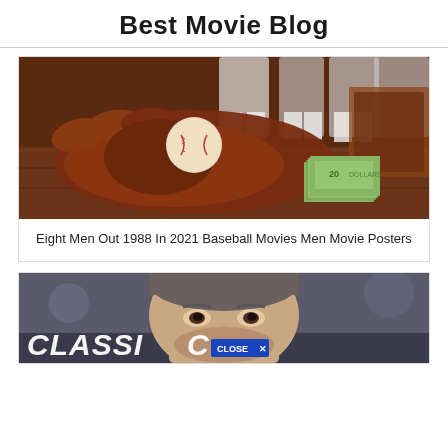Best Movie Blog
[Figure (photo): Baseball glove with a baseball and stack of money on a wooden surface, with baseball players in white uniforms visible in the background]
Eight Men Out 1988 In 2021 Baseball Movies Men Movie Posters
[Figure (photo): Close-up of a man's face with text CLASSIC partially visible at the bottom, and a CLOSE X button overlay]